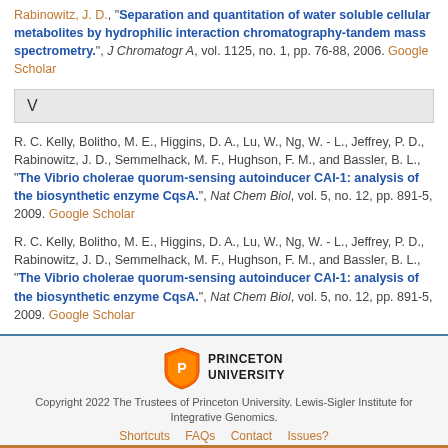Rabinowitz, J. D., "Separation and quantitation of water soluble cellular metabolites by hydrophilic interaction chromatography-tandem mass spectrometry.", J Chromatogr A, vol. 1125, no. 1, pp. 76-88, 2006. Google Scholar
V
R. C. Kelly, Bolitho, M. E., Higgins, D. A., Lu, W., Ng, W. - L., Jeffrey, P. D., Rabinowitz, J. D., Semmelhack, M. F., Hughson, F. M., and Bassler, B. L., "The Vibrio cholerae quorum-sensing autoinducer CAI-1: analysis of the biosynthetic enzyme CqsA.", Nat Chem Biol, vol. 5, no. 12, pp. 891-5, 2009. Google Scholar
R. C. Kelly, Bolitho, M. E., Higgins, D. A., Lu, W., Ng, W. - L., Jeffrey, P. D., Rabinowitz, J. D., Semmelhack, M. F., Hughson, F. M., and Bassler, B. L., "The Vibrio cholerae quorum-sensing autoinducer CAI-1: analysis of the biosynthetic enzyme CqsA.", Nat Chem Biol, vol. 5, no. 12, pp. 891-5, 2009. Google Scholar
Copyright 2022 The Trustees of Princeton University. Lewis-Sigler Institute for Integrative Genomics. Shortcuts FAQs Contact Issues?